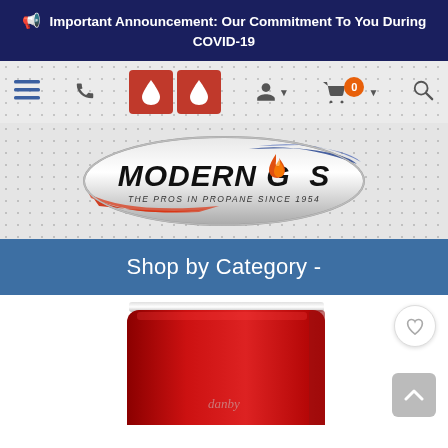Important Announcement: Our Commitment To You During COVID-19
[Figure (screenshot): Navigation bar with hamburger menu, phone icon, two red propane/water drop buttons, user account icon, shopping cart with 0 badge, and search icon]
[Figure (logo): Modern Gas logo - oval silver badge with red and blue swoosh, text MODERN GAS in bold black italic, flame icon replacing the O in GAS, tagline THE PROS IN PROPANE SINCE 1954]
Shop by Category -
[Figure (photo): Red Danby mini refrigerator with retro styling and chrome trim, shown from front-left angle, partially cropped at bottom of page]